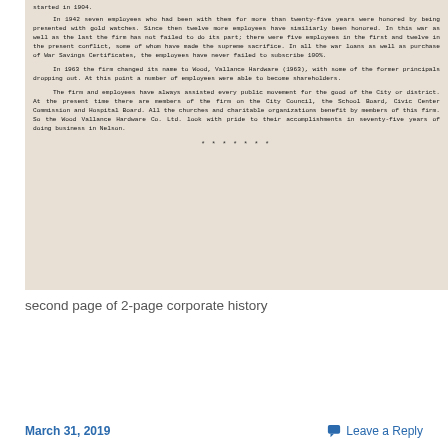[Figure (photo): Scanned/photographed typewritten document page showing corporate history text of Wood, Vallance Hardware Co. Ltd., with paragraphs about employee recognition, war contributions, 1963 name change, and community involvement. Ends with a line of asterisk dots.]
second page of 2-page corporate history
March 31, 2019   Leave a Reply